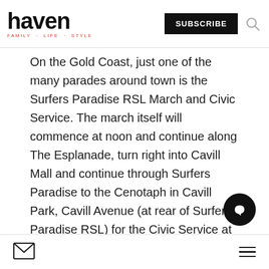haven FAMILY · LIFE · STYLE | SUBSCRIBE
On the Gold Coast, just one of the many parades around town is the Surfers Paradise RSL March and Civic Service. The march itself will commence at noon and continue along The Esplanade, turn right into Cavill Mall and continue through Surfers Paradise to the Cenotaph in Cavill Park, Cavill Avenue (at rear of Surfers Paradise RSL) for the Civic Service at 12.30pm.
Be sure to Google your nearest dawn service or Anzac Day parade, as there is
mail icon | hamburger menu